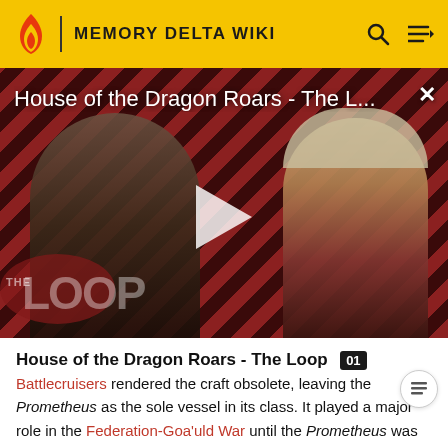MEMORY DELTA WIKI
[Figure (screenshot): Video thumbnail for 'House of the Dragon Roars - The L...' showing two characters against a diagonal stripe background with a play button and THE LOOP badge. A close (X) button is in the top right.]
House of the Dragon Roars - The Loop
Battlecruisers rendered the craft obsolete, leaving the Prometheus as the sole vessel in its class. It played a major role in the Federation-Goa'uld War until the Prometheus was destroyed in a battle over Tegalus in